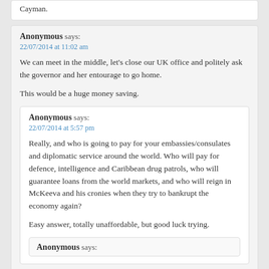Cayman.
Anonymous says:
22/07/2014 at 11:02 am
We can meet in the middle, let's close our UK office and politely ask the governor and her entourage to go home.
This would be a huge money saving.
Anonymous says:
22/07/2014 at 5:57 pm
Really, and who is going to pay for your embassies/consulates and diplomatic service around the world. Who will pay for defence, intelligence and Caribbean drug patrols, who will guarantee loans from the world markets, and who will reign in McKeeva and his cronies when they try to bankrupt the economy again?
Easy answer, totally unaffordable, but good luck trying.
Anonymous says: